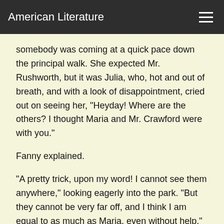American Literature
somebody was coming at a quick pace down the principal walk. She expected Mr. Rushworth, but it was Julia, who, hot and out of breath, and with a look of disappointment, cried out on seeing her, "Heyday! Where are the others? I thought Maria and Mr. Crawford were with you."
Fanny explained.
"A pretty trick, upon my word! I cannot see them anywhere," looking eagerly into the park. "But they cannot be very far off, and I think I am equal to as much as Maria, even without help."
"But, Julia, Mr. Rushworth will be here in a moment